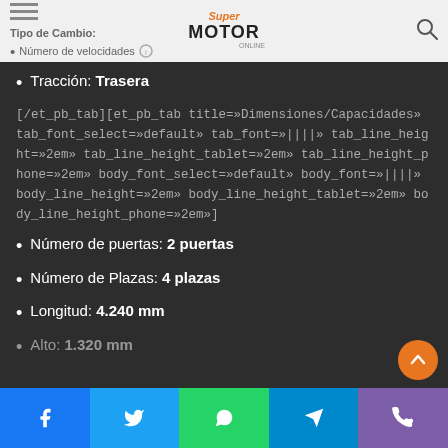Tipo de Cambio: [header] • Número de velocidades [header bullet]
Tracción: Trasera
[/et_pb_tab][et_pb_tab title=»Dimensiones/Capacidades» tab_font_select=»default» tab_font=»||||» tab_line_height=»2em» tab_line_height_tablet=»2em» tab_line_height_phone=»2em» body_font_select=»default» body_font=»||||» body_line_height=»2em» body_line_height_tablet=»2em» body_line_height_phone=»2em»]
Número de puertas: 2 puertas
Número de Plazas: 4 plazas
Longitud: 4.240 mm
Alto: 1.320 mm